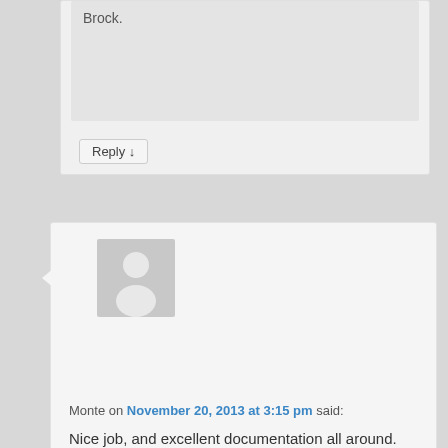Reply ↓
[Figure (photo): Default avatar placeholder image — gray silhouette of a person on light gray background]
Monte on November 20, 2013 at 3:15 pm said:
Nice job, and excellent documentation all around.

Should the new bearings be installed before building the wheels ?

Did Woody's do the bearing work as well?
I'm thinking of using them for my R75/5 project.
Reply ↓